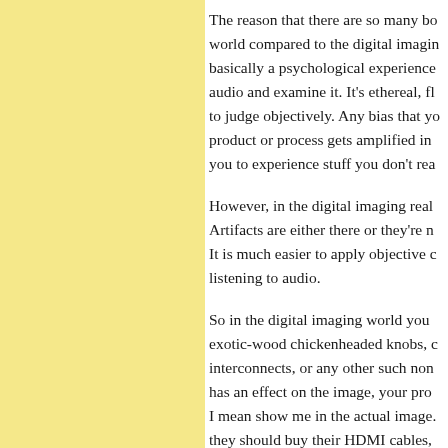The reason that there are so many bo world compared to the digital imagin basically a psychological experience audio and examine it. It's ethereal, fl to judge objectively. Any bias that yo product or process gets amplified in you to experience stuff you don't rea
However, in the digital imaging real Artifacts are either there or they're n It is much easier to apply objective c listening to audio.
So in the digital imaging world you exotic-wood chickenheaded knobs, c interconnects, or any other such non has an effect on the image, your pro I mean show me in the actual image. they should buy their HDMI cables, on Amazon. Order 3 or 4, and if yo